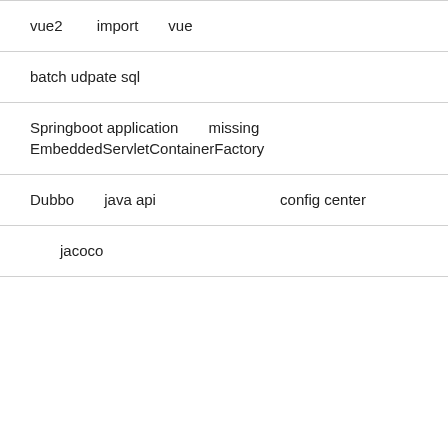vue2 中import中vue中中中中
batch udpate sql中中中中中中中中中中中中中中中中
Springboot application中中missing EmbeddedServletContainerFactory中中中中
Dubbo中中java api 中中中中中中中config center
中中jacoco中中中中中中中中中中中中中中中中中中中